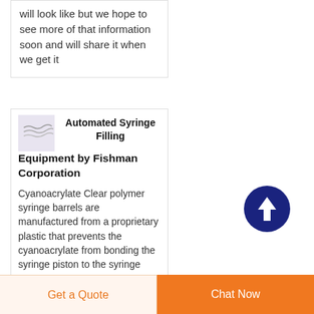will look like but we hope to see more of that information soon and will share it when we get it
[Figure (logo): Small logo placeholder with scribbly lines on a light purple/grey background]
Automated Syringe Filling Equipment by Fishman Corporation
Cyanoacrylate Clear polymer syringe barrels are manufactured from a proprietary plastic that prevents the cyanoacrylate from bonding the syringe piston to the syringe barrel
[Figure (other): Dark navy blue circular scroll-to-top button with white upward arrow icon]
Get a Quote
Chat Now